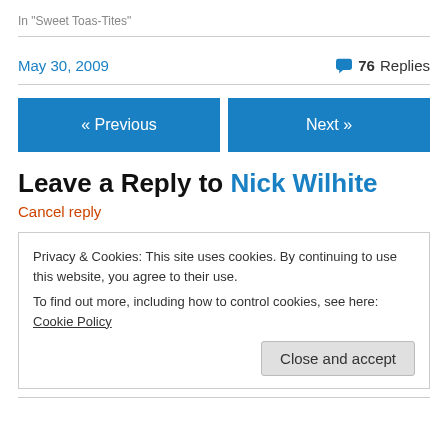In "Sweet Toas-Tites"
May 30, 2009
76 Replies
« Previous
Next »
Leave a Reply to Nick Wilhite
Cancel reply
Privacy & Cookies: This site uses cookies. By continuing to use this website, you agree to their use.
To find out more, including how to control cookies, see here: Cookie Policy
Close and accept